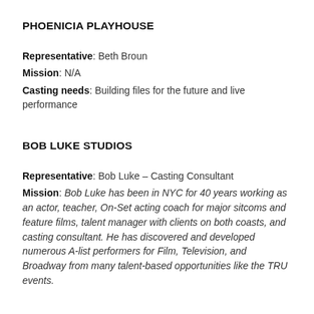PHOENICIA PLAYHOUSE
Representative: Beth Broun
Mission: N/A
Casting needs: Building files for the future and live performance
BOB LUKE STUDIOS
Representative: Bob Luke – Casting Consultant
Mission: Bob Luke has been in NYC for 40 years working as an actor, teacher, On-Set acting coach for major sitcoms and feature films, talent manager with clients on both coasts, and casting consultant. He has discovered and developed numerous A-list performers for Film, Television, and Broadway from many talent-based opportunities like the TRU events.